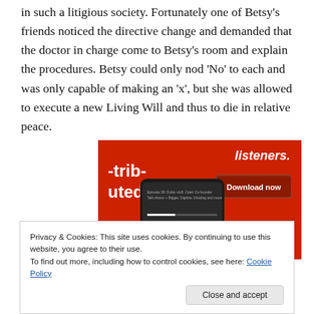in such a litigious society. Fortunately one of Betsy's friends noticed the directive change and demanded that the doctor in charge come to Betsy's room and explain the procedures. Betsy could only nod 'No' to each and was only capable of making an 'x', but she was allowed to execute a new Living Will and thus to die in relative peace.
[Figure (screenshot): Red advertisement banner showing a smartphone with a podcast app interface and a 'Download now' button, with partial text '-trib-uted' and 'listeners.' visible.]
Privacy & Cookies: This site uses cookies. By continuing to use this website, you agree to their use.
To find out more, including how to control cookies, see here: Cookie Policy